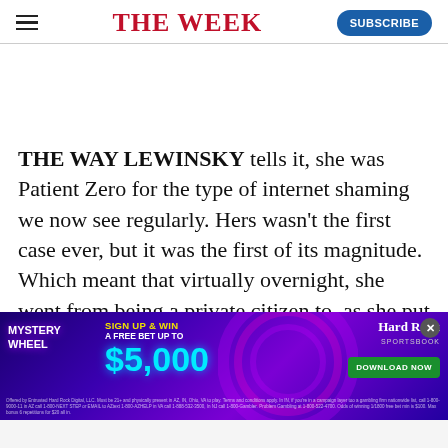THE WEEK
THE WAY LEWINSKY tells it, she was Patient Zero for the type of internet shaming we now see regularly. Hers wasn't the first case ever, but it was the first of its magnitude. Which meant that virtually overnight, she went from being a private citizen to, as she put it,
[Figure (other): Hard Rock Sportsbook advertisement banner: Mystery Wheel - Sign Up & Win a Free Bet Up To $5,000. Download Now button. Purple/blue background with neon accents.]